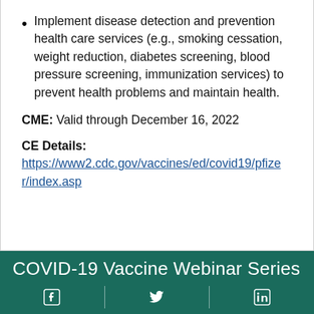Implement disease detection and prevention health care services (e.g., smoking cessation, weight reduction, diabetes screening, blood pressure screening, immunization services) to prevent health problems and maintain health.
CME: Valid through December 16, 2022
CE Details: https://www2.cdc.gov/vaccines/ed/covid19/pfizer/index.asp
Top of Page
COVID-19 Vaccine Webinar Series